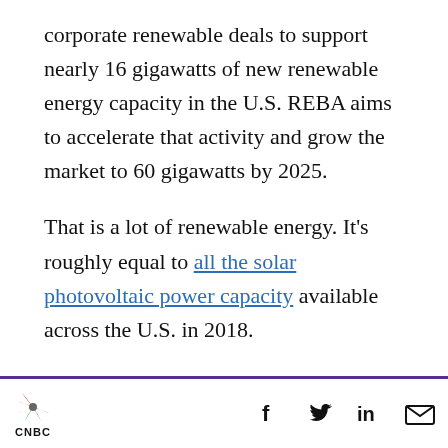corporate renewable deals to support nearly 16 gigawatts of new renewable energy capacity in the U.S. REBA aims to accelerate that activity and grow the market to 60 gigawatts by 2025.
That is a lot of renewable energy. It's roughly equal to all the solar photovoltaic power capacity available across the U.S. in 2018.
Corporate America has a major role to play, because commercial and industrial power users are the leading cause of energy-related greenhouse gas emissions in the U.S., said Miranda Ballentine, REBA's founding CEO.
CNBC | Social share icons: Facebook, Twitter, LinkedIn, Email